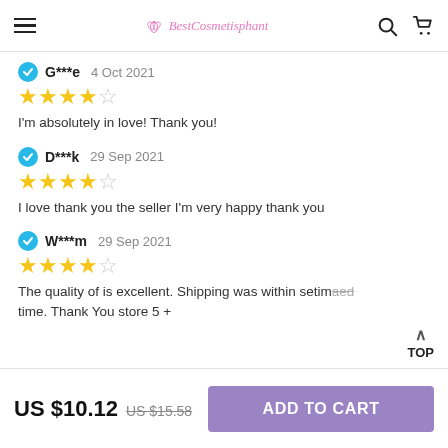BestCosmetisphant
G***e 4 Oct 2021 | 4 stars | I'm absolutely in love! Thank you!
D***k 29 Sep 2021 | 4 stars | I love thank you the seller I'm very happy thank you
W***m 29 Sep 2021 | 4 stars | The quality of is excellent. Shipping was within setimated time. Thank You store 5 +
US $10.12  US $15.58  ADD TO CART